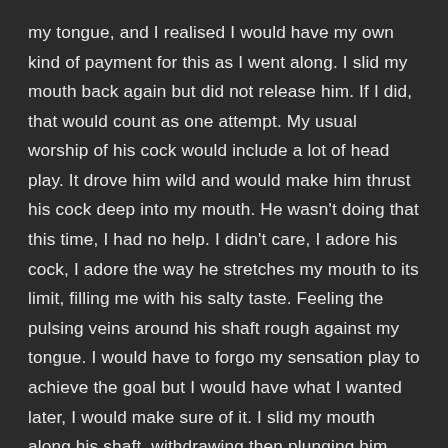my tongue, and I realised I would have my own kind of payment for this as I went along. I slid my mouth back again but did not release him. If I did, that would count as one attempt. My usual worship of his cock would include a lot of head play. It drove him wild and would make him thrust his cock deep into my mouth. He wasn't doing that this time, I had no help. I didn't care, I adore his cock, I adore the way he stretches my mouth to its limit, filling me with his salty taste. Feeling the pulsing veins around his shaft rough against my tongue. I would have to forgo my sensation play to achieve the goal but I would have what I wanted later, I would make sure of it. I slid my mouth along his shaft, withdrawing then plunging him deeper each time I drew him in, until he was right to the back of my throat and I could feel my gag reflex kicking in.